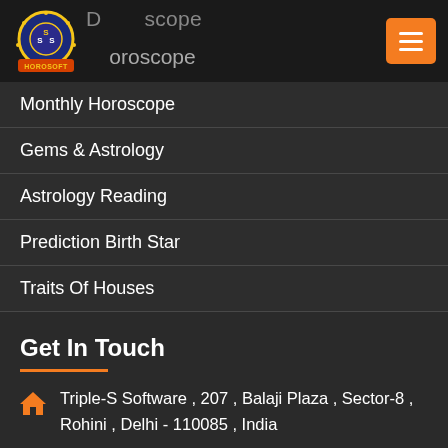Astrology Software Horoscope — Daily Horoscope / Horoscope
Monthly Horoscope
Gems & Astrology
Astrology Reading
Prediction Birth Star
Traits Of Houses
Get In Touch
Triple-S Software , 207 , Balaji Plaza , Sector-8 , Rohini , Delhi - 110085 , India